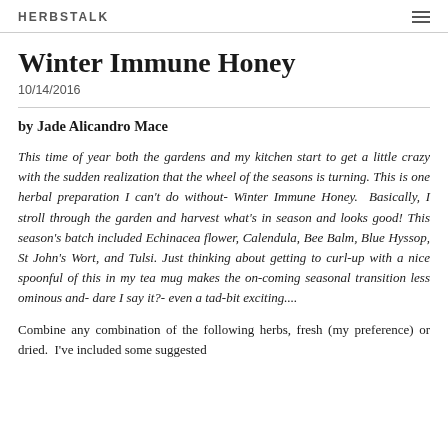HERBSTALK
Winter Immune Honey
10/14/2016
by Jade Alicandro Mace
This time of year both the gardens and my kitchen start to get a little crazy with the sudden realization that the wheel of the seasons is turning. This is one herbal preparation I can't do without- Winter Immune Honey.  Basically, I stroll through the garden and harvest what's in season and looks good! This season's batch included Echinacea flower, Calendula, Bee Balm, Blue Hyssop, St John's Wort, and Tulsi. Just thinking about getting to curl-up with a nice spoonful of this in my tea mug makes the on-coming seasonal transition less ominous and- dare I say it?- even a tad-bit exciting....
Combine any combination of the following herbs, fresh (my preference) or dried.  I've included some suggested